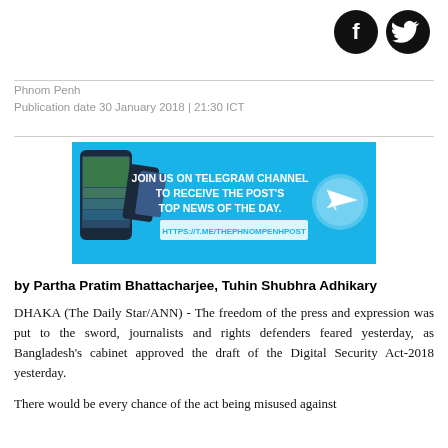[Figure (logo): Facebook and Twitter social media icons (black circles with white f and bird symbols)]
Phnom Penh
Publication date 30 January 2018 | 21:30 ICT
[Figure (infographic): Blue advertisement banner: JOIN US ON TELEGRAM CHANNEL TO RECEIVE THE POST'S TOP NEWS OF THE DAY. HTTPS://T.ME/THEPHNOMPENHPOST with phone mockup and paper plane icon]
by Partha Pratim Bhattacharjee, Tuhin Shubhra Adhikary
DHAKA (The Daily Star/ANN) - The freedom of the press and expression was put to the sword, journalists and rights defenders feared yesterday, as Bangladesh's cabinet approved the draft of the Digital Security Act-2018 yesterday.
There would be every chance of the act being misused against